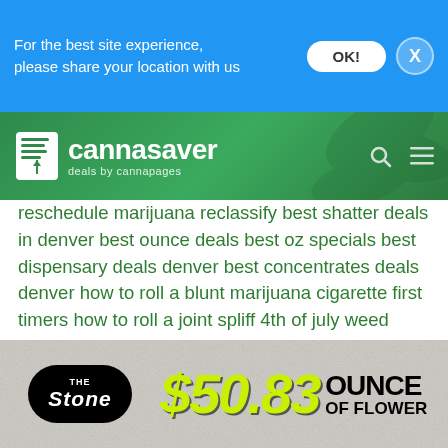For the best site experience, please share your location with us
[Figure (logo): Cannasaver logo - deals by cannapages, on green cannabis leaf background header]
reschedule marijuana reclassify best shatter deals in denver best ounce deals best oz specials best dispensary deals denver best concentrates deals denver how to roll a blunt marijuana cigarette first timers how to roll a joint spliff 4th of july weed deals denver the joint by cannabis top ten dispensaries summer sale leafs by snoop where to buy in denver leafs by snoop marijuana products snoop doggs marijuana products snoop doggs cannabis brand discounts on marijuana denver weed coupons coupons for shatter marijuana market report what is 710 710 events in denver what is dab day 420 friendly events 420 vacations colorado summer tourism 420 travel to colorado savvy stoner cheapest dispensary deals best ounce deal in
[Figure (advertisement): The Stone dispensary ad showing $50.83 ounce of flower deal]